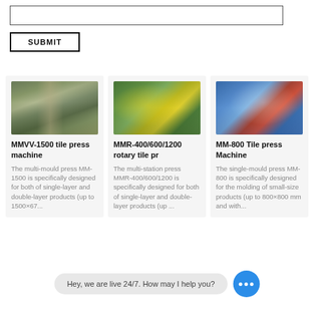[Figure (screenshot): Input text box (empty)]
SUBMIT
[Figure (photo): MMVV-1500 tile press machine - large green industrial multi-mould press]
MMVV-1500 tile press machine
The multi-mould press MM-1500 is specifically designed for both of single-layer and double-layer products (up to 1500×67...
[Figure (photo): MMR-400/600/1200 rotary tile press - green rotary multi-station press]
MMR-400/600/1200 rotary tile pr
The multi-station press MMR-400/600/1200 is specifically designed for both of single-layer and double-layer products (up ...
[Figure (photo): MM-800 Tile press Machine - blue hydraulic single-mould press]
MM-800 Tile press Machine
The single-mould press MM-800 is specifically designed for the molding of small-size products (up to 800×800 mm and with...
Hey, we are live 24/7. How may I help you?